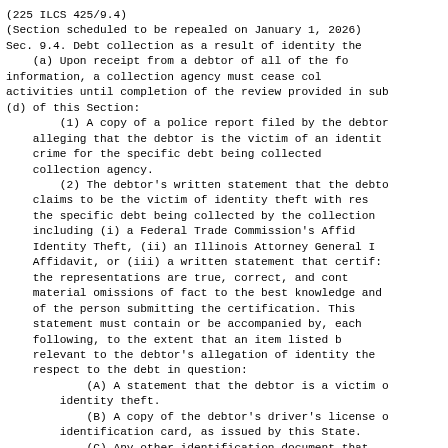(225 ILCS 425/9.4)
(Section scheduled to be repealed on January 1, 2026)
Sec. 9.4. Debt collection as a result of identity the
    (a) Upon receipt from a debtor of all of the fo
information, a collection agency must cease col
activities until completion of the review provided in sub
(d) of this Section:
    (1) A copy of a police report filed by the debtor
alleging that the debtor is the victim of an identit
crime for the specific debt being collected
collection agency.
    (2) The debtor's written statement that the debto
claims to be the victim of identity theft with res
the specific debt being collected by the collection
including (i) a Federal Trade Commission's Affid
Identity Theft, (ii) an Illinois Attorney General I
Affidavit, or (iii) a written statement that certif:
the representations are true, correct, and cont
material omissions of fact to the best knowledge and
of the person submitting the certification. This
statement must contain or be accompanied by, each
following, to the extent that an item listed b
relevant to the debtor's allegation of identity the
respect to the debt in question:
        (A) A statement that the debtor is a victim o
    identity theft.
        (B) A copy of the debtor's driver's license o
    identification card, as issued by this State.
        (C) Any other identification document that
    supports the statement of identity theft.